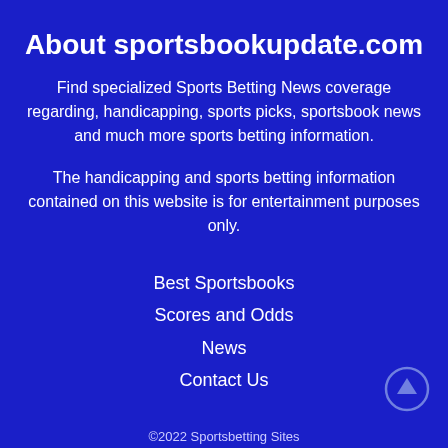About sportsbookupdate.com
Find specialized Sports Betting News coverage regarding, handicapping, sports picks, sportsbook news and much more sports betting information.
The handicapping and sports betting information contained on this website is for entertainment purposes only.
Best Sportsbooks
Scores and Odds
News
Contact Us
©2022 Sportsbetting Sites